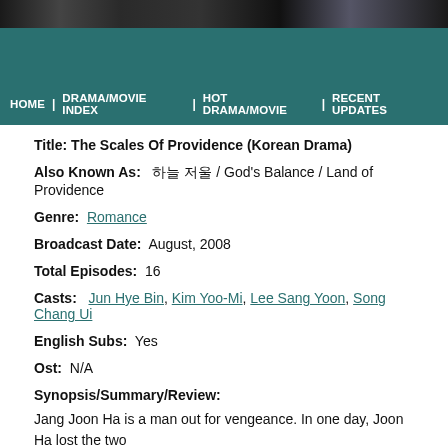[Figure (photo): Dark skyline/cityscape header image at top of page]
HOME | DRAMA/MOVIE INDEX | HOT DRAMA/MOVIE | RECENT UPDATES
Title:  The Scales Of Providence (Korean Drama)
Also Known As:   하늘 저울 / God's Balance / Land of Providence
Genre:  Romance
Broadcast Date:  August, 2008
Total Episodes:  16
Casts:  Jun Hye Bin, Kim Yoo-Mi, Lee Sang Yoon, Song Chang Ui
English Subs:  Yes
Ost:  N/A
Synopsis/Summary/Review:
Jang Joon Ha is a man out for vengeance. In one day, Joon Ha lost the two